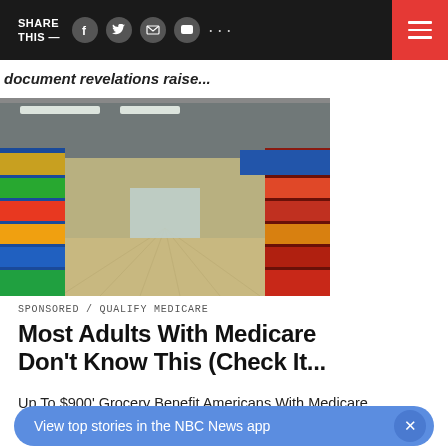SHARE THIS —  [social icons]  [hamburger menu]
document revelations raise...
[Figure (photo): Interior of a grocery store showing a long aisle with colorful product shelves on both sides receding to a vanishing point. Blue and red shelves with cereal boxes and packaged food products visible.]
SPONSORED / QUALIFY MEDICARE
Most Adults With Medicare Don't Know This (Check It...
Up To $900' Grocery Benefit Americans With Medicare Are Applying For Today
View top stories in the NBC News app